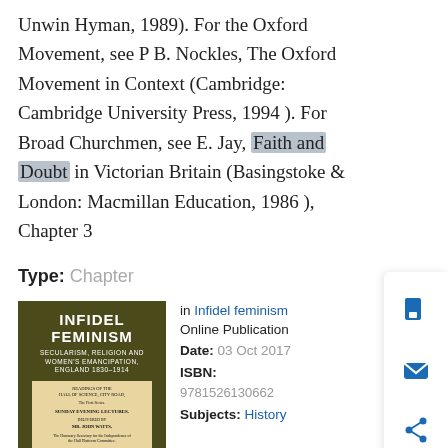Unwin Hyman, 1989). For the Oxford Movement, see P B. Nockles, The Oxford Movement in Context (Cambridge: Cambridge University Press, 1994 ). For Broad Churchmen, see E. Jay, Faith and Doubt in Victorian Britain (Basingstoke & London: Macmillan Education, 1986 ), Chapter 3
Type:  Chapter
[Figure (photo): Book cover of 'Infidel Feminism: Secularism, Religion and Women's Emancipation, England 1830-1914' with dark olive green background and an inset image of an old document]
in Infidel feminism Online Publication Date: 03 Oct 2017 ISBN: 9781526130662 Subjects: History